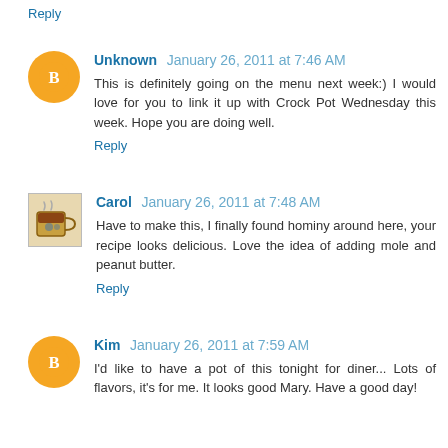Reply
Unknown January 26, 2011 at 7:46 AM
This is definitely going on the menu next week:) I would love for you to link it up with Crock Pot Wednesday this week. Hope you are doing well.
Reply
Carol January 26, 2011 at 7:48 AM
Have to make this, I finally found hominy around here, your recipe looks delicious. Love the idea of adding mole and peanut butter.
Reply
Kim January 26, 2011 at 7:59 AM
I'd like to have a pot of this tonight for diner... Lots of flavors, it's for me. It looks good Mary. Have a good day!